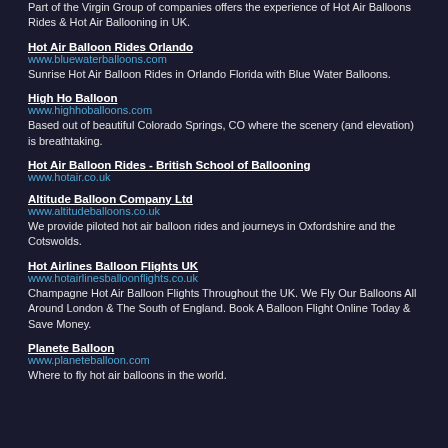Part of the Virgin Group of companies offers the experience of Hot Air Balloons Rides & Hot Air Ballooning in UK.
Hot Air Balloon Rides Orlando
www.bluewaterballoons.com
Sunrise Hot Air Balloon Rides in Orlando Florida with Blue Water Balloons.
High Ho Balloon
www.highhoballoons.com
Based out of beautiful Colorado Springs, CO where the scenery (and elevation) is breathtaking.
Hot Air Balloon Rides - British School of Ballooning
www.hotair.co.uk
Altitude Balloon Company Ltd
www.altitudeballoons.co.uk
We provide piloted hot air balloon rides and journeys in Oxfordshire and the Cotswolds.
Hot Airlines Balloon Flights UK
www.hotairlinesballoonflights.co.uk
Champagne Hot Air Balloon Flights Throughout the UK. We Fly Our Balloons All Around London & The South of England. Book A Balloon Flight Online Today & Save Money.
Planete Balloon
www.planeteballoon.com
Where to fly hot air balloons in the world.